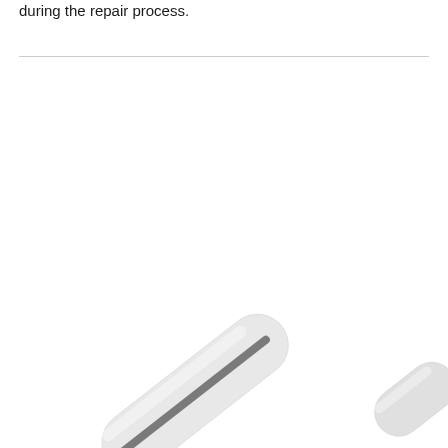during the repair process.
[Figure (photo): Close-up photo of a white stylus pen tool, shown at an angle, with a dark gray tip/slot visible, along with a smaller white component partially visible at the lower right corner.]